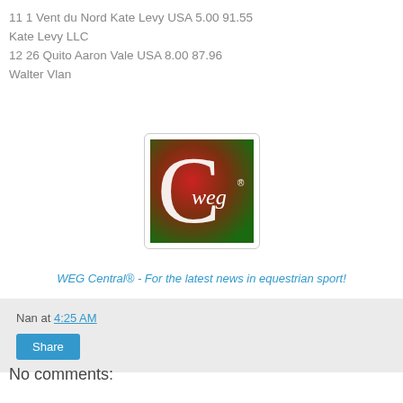11 1 Vent du Nord Kate Levy USA 5.00 91.55
Kate Levy LLC
12 26 Quito Aaron Vale USA 8.00 87.96
Walter Vlan
[Figure (logo): WEG Central logo: a stylized letter C on a red-to-green gradient background with the text 'weg' in white]
WEG Central® - For the latest news in equestrian sport!
Nan at 4:25 AM
Share
No comments:
Post a Comment